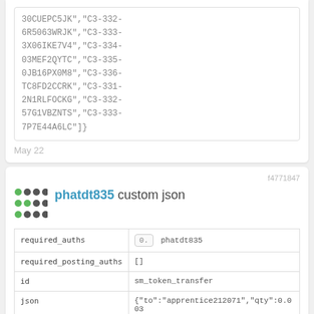30CUEPC5JK","C3-332-6R5063WRJK","C3-333-3X06IKE7V4","C3-334-03MEF2QYTC","C3-335-0JB16PX0M8","C3-336-TC8FD2CCRK","C3-331-2N1RLFOCKG","C3-332-57G1VBZNTS","C3-333-7P7E44A6LC"]}
May 22
f4771847
phatdt835 custom json
| required_auths | 0.  phatdt835 |
| required_posting_auths | [] |
| id | sm_token_transfer |
| json | {"to":"apprentice212071","qty":0.003,"token":"SPS","memo":"apprentice212071","app":"splinterlands/0.7.220317"} |
May 22
b72cd8d8
hanavn253 Splinterlands claimed quest reward